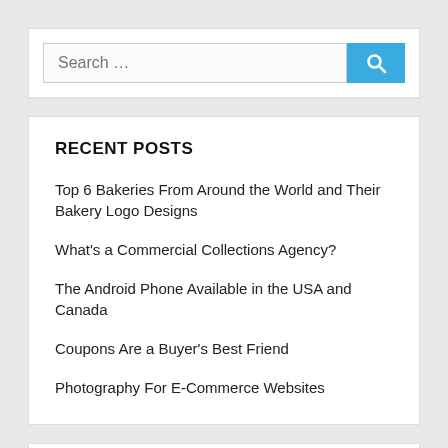[Figure (screenshot): Search bar widget with text input showing placeholder 'Search ...' and a blue search button with magnifying glass icon]
RECENT POSTS
Top 6 Bakeries From Around the World and Their Bakery Logo Designs
What's a Commercial Collections Agency?
The Android Phone Available in the USA and Canada
Coupons Are a Buyer's Best Friend
Photography For E-Commerce Websites